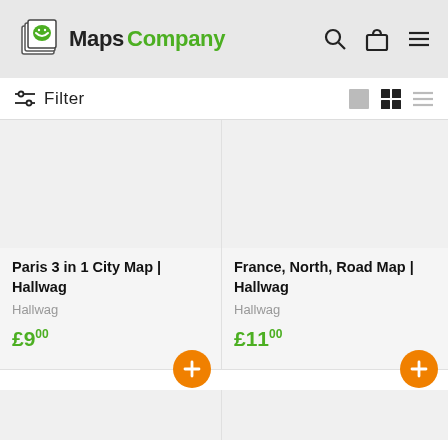MapsCompany
Filter
[Figure (screenshot): Product listing card: Paris 3 in 1 City Map | Hallwag, Hallwag, £9.00]
[Figure (screenshot): Product listing card: France, North, Road Map | Hallwag, Hallwag, £11.00]